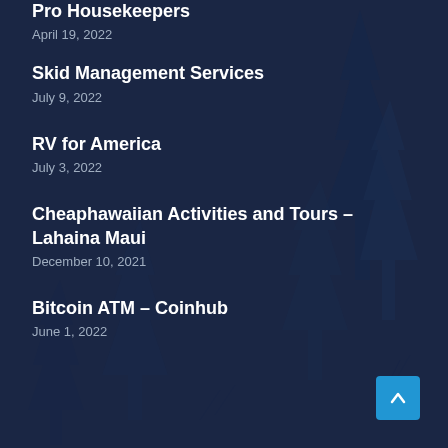Pro Housekeepers
April 19, 2022
Skid Management Services
July 9, 2022
RV for America
July 3, 2022
Cheaphawaiian Activities and Tours – Lahaina Maui
December 10, 2021
Bitcoin ATM – Coinhub
June 1, 2022